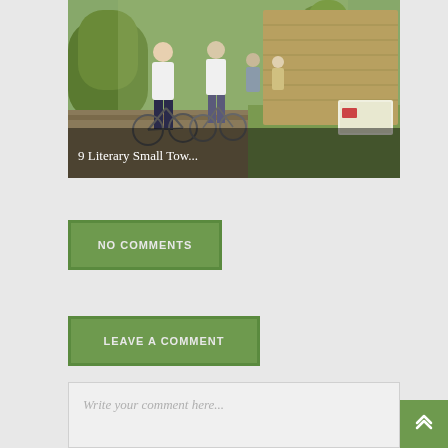[Figure (photo): A group of cyclists with bicycles gathered on a sidewalk near a brick wall/marker and trees. People wearing helmets and casual clothes. Sunny outdoor scene.]
9 Literary Small Tow...
NO COMMENTS
LEAVE A COMMENT
Write your comment here...